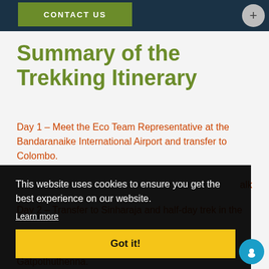CONTACT US
Summary of the Trekking Itinerary
Day 1 – Meet the Eco Team Representative at the Bandaranaike International Airport and transfer to Colombo.
Day 2 – Transfer to Sinharaja and half-day trek in the
This website uses cookies to ensure you get the best experience on our website.
Learn more
Got it!
Gatpothuthenna.